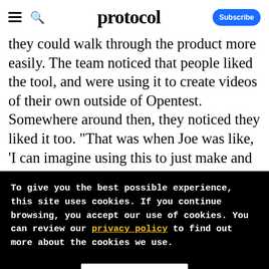protocol — Subscribe
they could walk through the product more easily. The team noticed that people liked the tool, and were using it to create videos of their own outside of Opentest. Somewhere around then, they noticed they liked it too. "That was when Joe was like, 'I can imagine using this to just make and send videos,'" Khan said. They thought maybe, instead of a feedback tool, they'd built a vide…
To give you the best possible experience, this site uses cookies. If you continue browsing, you accept our use of cookies. You can review our privacy policy to find out more about the cookies we use.
Accept